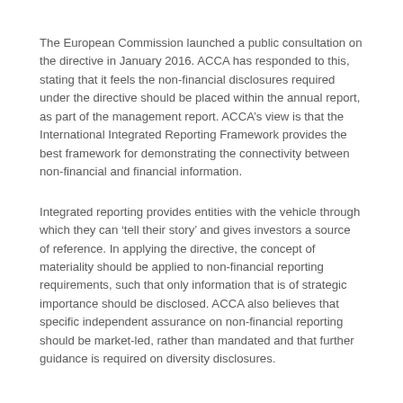The European Commission launched a public consultation on the directive in January 2016. ACCA has responded to this, stating that it feels the non-financial disclosures required under the directive should be placed within the annual report, as part of the management report. ACCA’s view is that the International Integrated Reporting Framework provides the best framework for demonstrating the connectivity between non-financial and financial information.
Integrated reporting provides entities with the vehicle through which they can ‘tell their story’ and gives investors a source of reference. In applying the directive, the concept of materiality should be applied to non-financial reporting requirements, such that only information that is of strategic importance should be disclosed. ACCA also believes that specific independent assurance on non-financial reporting should be market-led, rather than mandated and that further guidance is required on diversity disclosures.